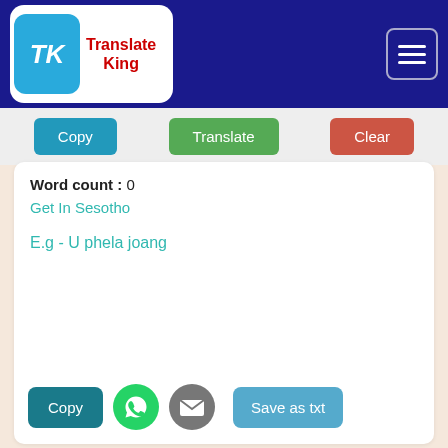[Figure (logo): Translate King app logo with TK icon in blue square and red text 'Translate King' on white rounded rectangle, on dark blue header bar with hamburger menu icon on right]
[Figure (screenshot): App interface showing Copy, Translate, Clear buttons; content area with Word count: 0, Get In Sesotho label, example text 'E.g - U phela joang'; bottom action bar with Copy button, WhatsApp icon, email icon, Save as txt button]
Word count : 0
Get In Sesotho
E.g - U phela joang